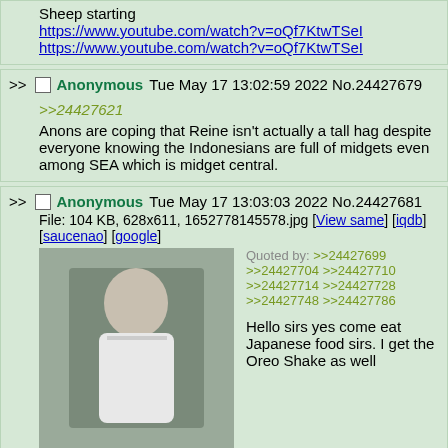Sheep starting
https://www.youtube.com/watch?v=oQf7KtwTSeI
https://www.youtube.com/watch?v=oQf7KtwTSeI
Anonymous Tue May 17 13:02:59 2022 No.24427679
>>24427621
Anons are coping that Reine isn't actually a tall hag despite everyone knowing the Indonesians are full of midgets even among SEA which is midget central.
Anonymous Tue May 17 13:03:03 2022 No.24427681
File: 104 KB, 628x611, 1652778145578.jpg [View same] [iqdb] [saucenao] [google]
Quoted by: >>24427699 >>24427704 >>24427710 >>24427714 >>24427728 >>24427748 >>24427786
Hello sirs yes come eat Japanese food sirs. I get the Oreo Shake as well
Anonymous Tue May 17 13:03:08 2022 No.24427682
Quoted by: >>24427721 >>24427772 >>24427811